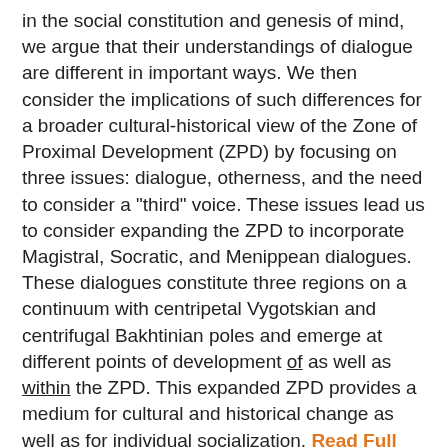in the social constitution and genesis of mind, we argue that their understandings of dialogue are different in important ways. We then consider the implications of such differences for a broader cultural-historical view of the Zone of Proximal Development (ZPD) by focusing on three issues: dialogue, otherness, and the need to consider a "third" voice. These issues lead us to consider expanding the ZPD to incorporate Magistral, Socratic, and Menippean dialogues. These dialogues constitute three regions on a continuum with centripetal Vygotskian and centrifugal Bakhtinian poles and emerge at different points of development of as well as within the ZPD. This expanded ZPD provides a medium for cultural and historical change as well as for individual socialization. Read Full Text Here
Mikhail Bakhtin: Main Theories
By Martin Irvine